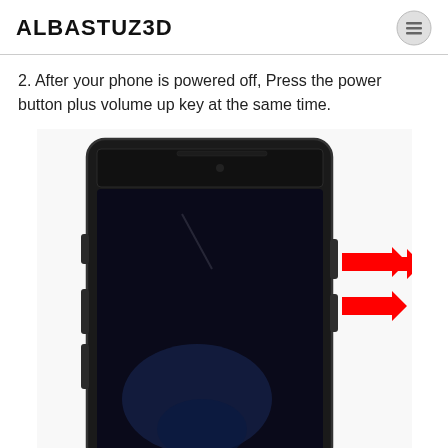ALBASTUZ3D
2. After your phone is powered off, Press the power button plus volume up key at the same time.
[Figure (photo): A black smartphone lying face-up with two red arrows pointing to the right side of the phone, indicating the power button and volume up button locations.]